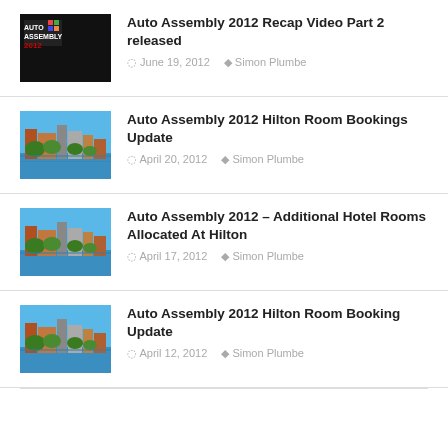[Figure (photo): Auto Assembly 2012 logo on black background]
Auto Assembly 2012 Recap Video Part 2 released
June 19, 2012   Simon Plumbe
[Figure (photo): Aerial view of a city waterfront with buildings and trees]
Auto Assembly 2012 Hilton Room Bookings Update
April 20, 2012   Simon Plumbe
[Figure (photo): Aerial view of a city waterfront with buildings and trees]
Auto Assembly 2012 – Additional Hotel Rooms Allocated At Hilton
April 17, 2012   Simon Plumbe
[Figure (photo): Aerial view of a city waterfront with buildings and trees]
Auto Assembly 2012 Hilton Room Booking Update
April 12, 2012   Simon Plumbe